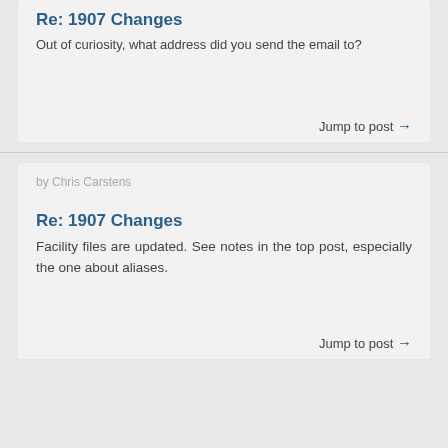Re: 1907 Changes
Out of curiosity, what address did you send the email to?
Jump to post →
by Chris Carstens
Re: 1907 Changes
Facility files are updated. See notes in the top post, especially the one about aliases.
Jump to post →